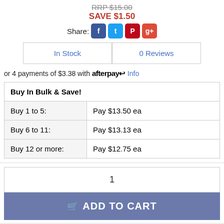RRP $15.00
SAVE $1.50
Share:
or 4 payments of $3.38 with afterpay Info
| Buy In Bulk & Save! |
| --- |
| Buy 1 to 5: | Pay $13.50 ea |
| Buy 6 to 11: | Pay $13.13 ea |
| Buy 12 or more: | Pay $12.75 ea |
1
ADD TO CART